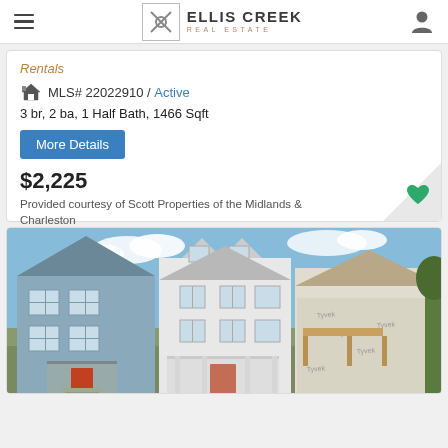Ellis Creek Real Estate — navigation bar with hamburger menu and user icon
Rentals
MLS# 22022910 / Active
3 br, 2 ba, 1 Half Bath, 1466 Sqft
More Details
$2,225
Provided courtesy of Scott Properties of the Midlands & Charleston
[Figure (photo): Exterior photo of three houses/townhomes side by side — a blue-gray siding house on the left, a white multi-story house in the center, and a house under construction on the right with Tyvek wrap visible. Blue sky with clouds in background.]